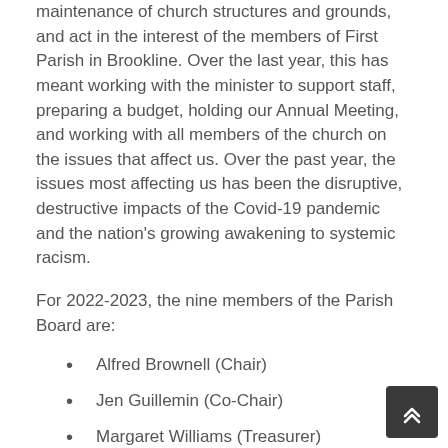maintenance of church structures and grounds, and act in the interest of the members of First Parish in Brookline. Over the last year, this has meant working with the minister to support staff, preparing a budget, holding our Annual Meeting, and working with all members of the church on the issues that affect us. Over the past year, the issues most affecting us has been the disruptive, destructive impacts of the Covid-19 pandemic and the nation's growing awakening to systemic racism.
For 2022-2023, the nine members of the Parish Board are:
Alfred Brownell (Chair)
Jen Guillemin (Co-Chair)
Margaret Williams (Treasurer)